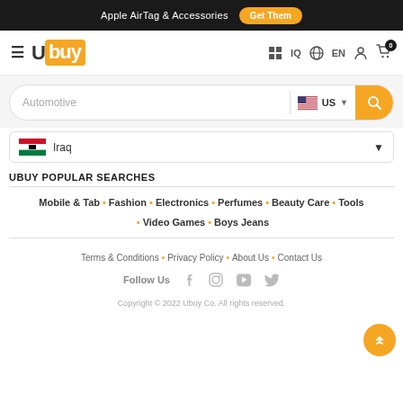Apple AirTag & Accessories  Get Them
[Figure (logo): Ubuy logo with hamburger menu and navigation icons (IQ, EN, user, cart with 0)]
Automotive (search field with US flag country selector)
Iraq (country dropdown)
UBUY POPULAR SEARCHES
Mobile & Tab • Fashion • Electronics • Perfumes • Beauty Care • Tools • Video Games • Boys Jeans
Terms & Conditions • Privacy Policy • About Us • Contact Us
Follow Us
Copyright © 2022 Ubuy Co. All rights reserved.